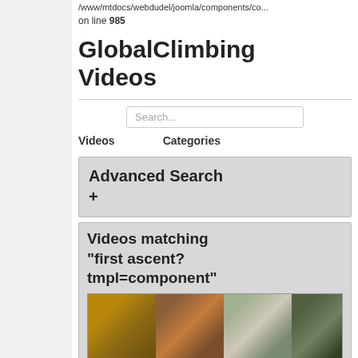/www/mtdocs/webdudel/joomla/components/co...
on line 985
GlobalClimbing Videos
Search...
Videos    Categories
Advanced Search +
Videos matching "first ascent? tmpl=component"
[Figure (photo): Four video thumbnail images showing climbing scenes]
Orion, Awunda System The
8b+    8a+    Sessio    umber